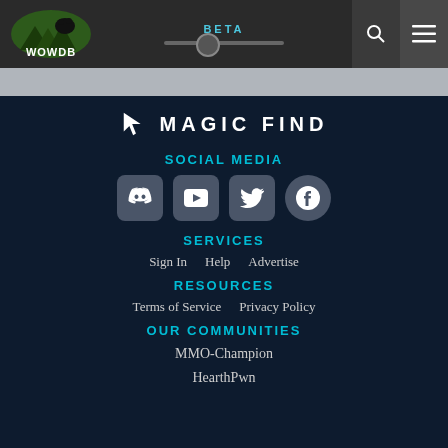WOWDB BETA
[Figure (logo): Magic Find logo with icon and text]
SOCIAL MEDIA
[Figure (illustration): Social media icons: Discord, YouTube, Twitter, Facebook]
SERVICES
Sign In
Help
Advertise
RESOURCES
Terms of Service
Privacy Policy
OUR COMMUNITIES
MMO-Champion
HearthPwn